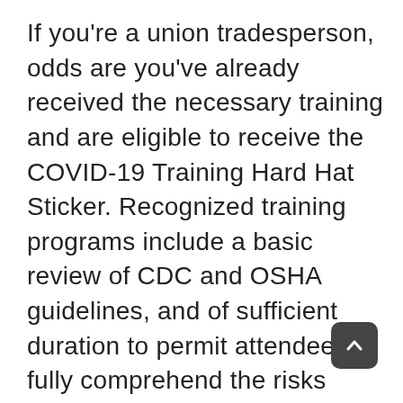If you're a union tradesperson, odds are you've already received the necessary training and are eligible to receive the COVID-19 Training Hard Hat Sticker. Recognized training programs include a basic review of CDC and OSHA guidelines, and of sufficient duration to permit attendees to fully comprehend the risks associated with COVID-19, the required safety protocols to minimize those risks, and how to implement those protocols on a construction worksite. Specifics may include but are not limited to risks associated with airborne infectious diseases, personal